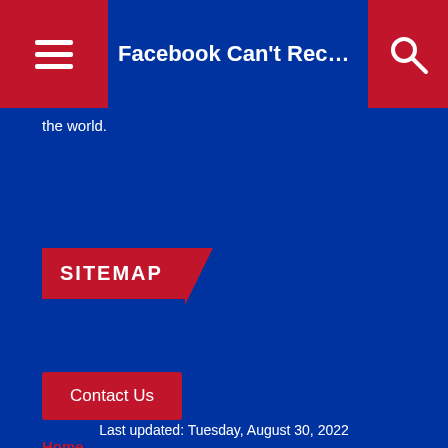Facebook Can't Reconcile Humanity..
the world.
SITEMAP
Contact Us
Home
US
World
Causes
Opinion
Gallery
About
Last updated: Tuesday, August 30, 2022